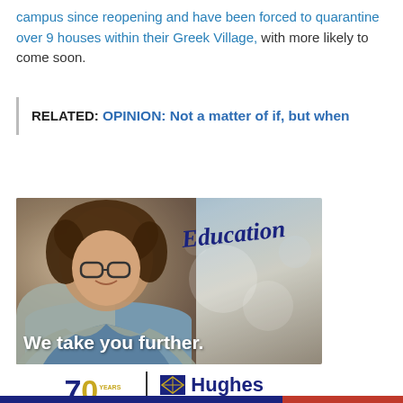campus since reopening and have been forced to quarantine over 9 houses within their Greek Village, with more likely to come soon.
RELATED: OPINION: Not a matter of if, but when
[Figure (photo): Advertisement for Hughes Federal Credit Union showing a smiling young woman with curly hair and glasses wearing a blue shirt and gray jacket, with the word 'Education' handwritten in blue script, and the tagline 'We take you further.' overlaid at the bottom.]
Hughes Federal Credit Union — 70 years